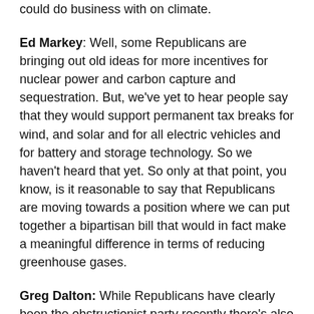could do business with on climate.
Ed Markey:  Well, some Republicans are bringing out old ideas for more incentives for nuclear power and carbon capture and sequestration.  But, we've yet to hear people say that they would support permanent tax breaks for wind, and solar and for all electric vehicles and for battery and storage technology.  So we haven't heard that yet.  So only at that point, you know, is it reasonable to say that Republicans are moving towards a position where we can put together a bipartisan bill that would in fact make a meaningful difference in terms of reducing greenhouse gases.
Greg Dalton:  While Republicans have clearly been the obstructionist party recently there's also been times where Democrats have also obstructed progress on climate. 1994, Robert Byrd, West Virginia, President Clinton wasn't able to keep his own party together for the BTU tax which was the first carbon tax.  Also, I'd like to share with you a